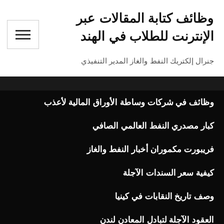وظائف كتابة المقالات عبر الإنترنت للطلاب في الهند
جنرال إلكتريك النفط والغاز المدير التنفيذي
وظائف في شركات وساطة الأوراق المالية لأعذب
كبار مصدري النفط العالمي الصافي
فريبورت مكموران أخبار النفط والغاز
كيفية سعر السندات الآجلة
وصف تاريخ النقابات في كينيا
العقود الآجلة لتبادل المعادن لندن
m1 معدل الضريبة
gics عقود الاستثمار مضمونة